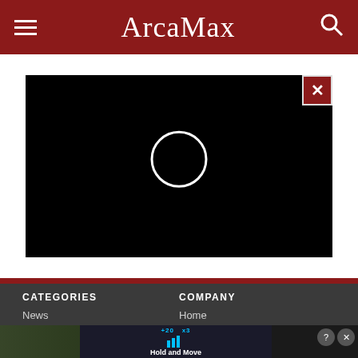ArcaMax
[Figure (screenshot): Black video player with white loading circle spinner in center and a red close (X) button in the top right corner]
CATEGORIES
News
Video
Comics
COMPANY
Home
Privacy Policy
Terms of Use
[Figure (screenshot): Mobile app advertisement at bottom showing 'Hold and Move' fitness app with trees in background and close/info buttons]